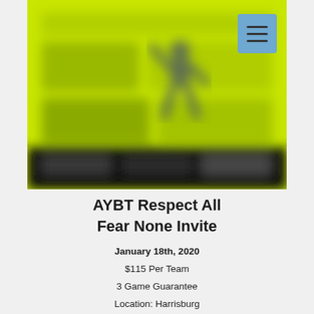[Figure (illustration): Blurred yellow-green banner image with dark text and a silhouette of a basketball player jumping. Text is not legible due to blur. A blue menu button with three horizontal lines is overlaid in the top-right corner.]
AYBT Respect All Fear None Invite
January 18th, 2020
$115 Per Team
3 Game Guarantee
Location: Harrisburg
Open to 3rd-8th Grade Teams
Deadline: January 9th